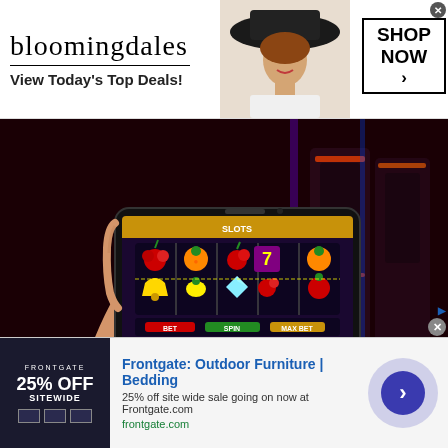[Figure (screenshot): Bloomingdales advertisement banner with logo, 'View Today's Top Deals!' text, model photo, and 'SHOP NOW >' button]
[Figure (photo): Person holding a smartphone displaying slot machine game with fruit symbols (cherries, oranges, grapes, 7s) against a dark casino background]
Play Slot Machines Online 2022 A Complete Guide For Beginners
[Figure (screenshot): Frontgate advertisement: Outdoor Furniture | Bedding. 25% off site wide sale going on now at Frontgate.com. frontgate.com]